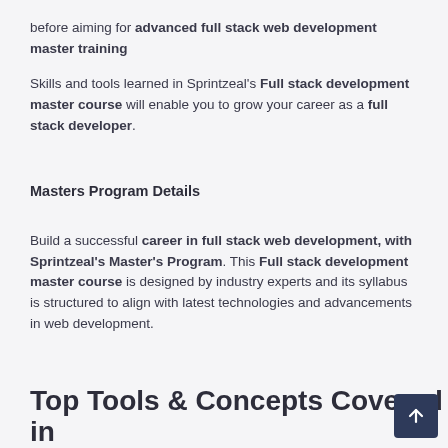before aiming for advanced full stack web development master training
Skills and tools learned in Sprintzeal's Full stack development master course will enable you to grow your career as a full stack developer.
Masters Program Details
Build a successful career in full stack web development, with Sprintzeal's Master's Program. This Full stack development master course is designed by industry experts and its syllabus is structured to align with latest technologies and advancements in web development.
Top Tools & Concepts Covered in